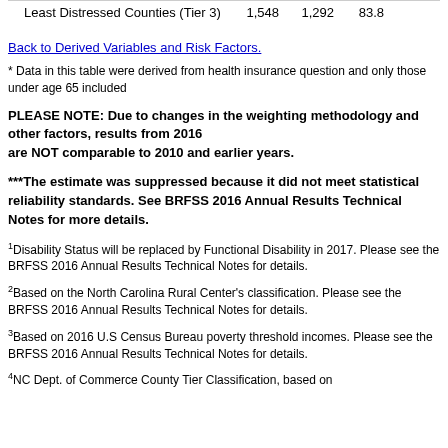|  | N | n | % |
| --- | --- | --- | --- |
| Least Distressed Counties (Tier 3) | 1,548 | 1,292 | 83.8 |
Back to Derived Variables and Risk Factors.
* Data in this table were derived from health insurance question and only those under age 65 included
PLEASE NOTE: Due to changes in the weighting methodology and other factors, results from 2016 are NOT comparable to 2010 and earlier years.
***The estimate was suppressed because it did not meet statistical reliability standards. See BRFSS 2016 Annual Results Technical Notes for more details.
1Disability Status will be replaced by Functional Disability in 2017. Please see the BRFSS 2016 Annual Results Technical Notes for details.
2Based on the North Carolina Rural Center's classification. Please see the BRFSS 2016 Annual Results Technical Notes for details.
3Based on 2016 U.S Census Bureau poverty threshold incomes. Please see the BRFSS 2016 Annual Results Technical Notes for details.
4NC Dept. of Commerce County Tier Classification, based on